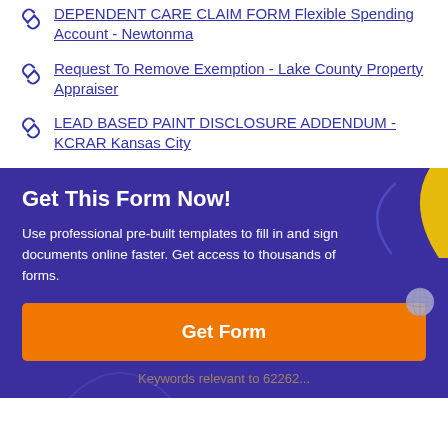DEPENDENT CARE CLAIM FORM Flexible Spending Account - Newtonma
Request To Remove Exemption - Lake County Property Appraiser
LEAD BASED PAINT DISCLOSURE ADDENDUM - KCRAR Kansas City
Get This Form Now!
Use professional pre-built templates to fill in and sign documents online faster. Get access to thousands of forms.
Get Form
Keywords relevant to 62262...